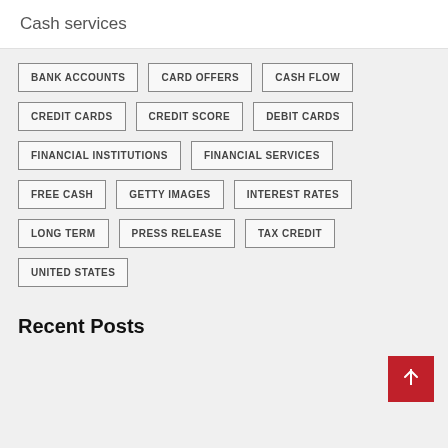Cash services
BANK ACCOUNTS
CARD OFFERS
CASH FLOW
CREDIT CARDS
CREDIT SCORE
DEBIT CARDS
FINANCIAL INSTITUTIONS
FINANCIAL SERVICES
FREE CASH
GETTY IMAGES
INTEREST RATES
LONG TERM
PRESS RELEASE
TAX CREDIT
UNITED STATES
Recent Posts